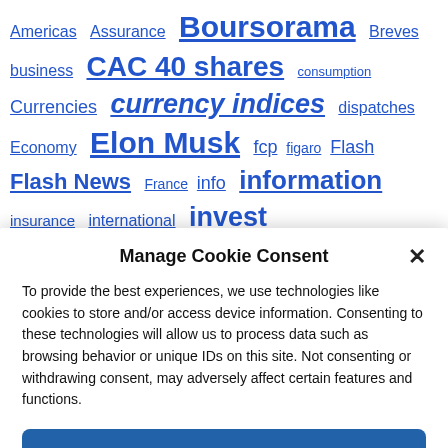[Figure (other): Tag cloud of finance/news related keywords in blue hyperlink style, varying font sizes indicating frequency/importance. Tags include: Americas, Assurance, Boursorama, Breves, business, CAC 40 shares, consumption, Currencies, currency indices, dispatches, Economy, Elon Musk, fcp, figaro, Flash, Flash News, France, info, information, insurance, international, invest]
Manage Cookie Consent
To provide the best experiences, we use technologies like cookies to store and/or access device information. Consenting to these technologies will allow us to process data such as browsing behavior or unique IDs on this site. Not consenting or withdrawing consent, may adversely affect certain features and functions.
Accept
Cookie Policy